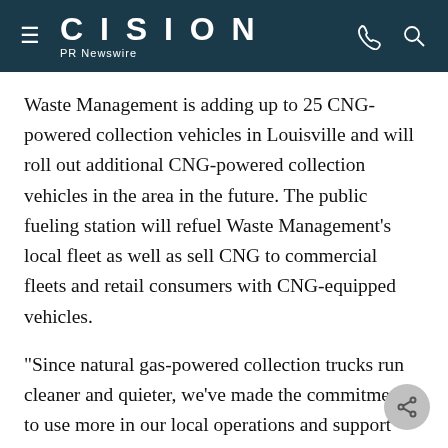CISION PR Newswire
Waste Management is adding up to 25 CNG-powered collection vehicles in Louisville and will roll out additional CNG-powered collection vehicles in the area in the future. The public fueling station will refuel Waste Management's local fleet as well as sell CNG to commercial fleets and retail consumers with CNG-equipped vehicles.
"Since natural gas-powered collection trucks run cleaner and quieter, we've made the commitment to use more in our local operations and support sustainability in this community by opening a pub...